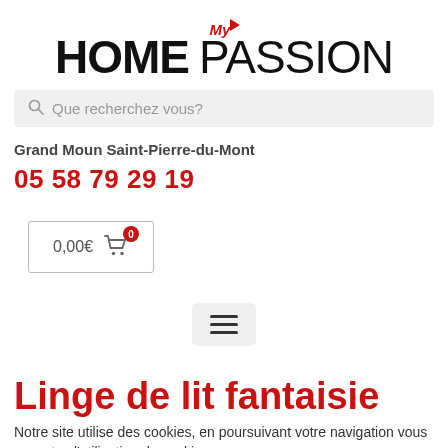[Figure (logo): My Home Passion logo with red 'My' text and arrow, bold 'HOME' and lighter 'PASSION' in black]
[Figure (screenshot): Search bar with placeholder text 'Que recherchez vous?']
Grand Moun Saint-Pierre-du-Mont
05 58 79 29 19
[Figure (screenshot): Shopping cart button showing 0,00€ with cart icon and badge showing 0]
[Figure (screenshot): Hamburger menu button with three horizontal lines]
Linge de lit fantaisie
Notre site utilise des cookies, en poursuivant votre navigation vous acceptez l'utilisation de cookies pour vous